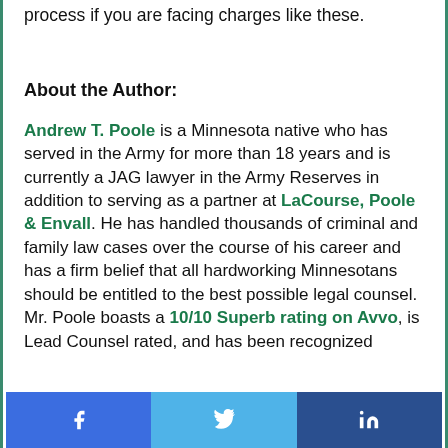process if you are facing charges like these.
About the Author:
Andrew T. Poole is a Minnesota native who has served in the Army for more than 18 years and is currently a JAG lawyer in the Army Reserves in addition to serving as a partner at LaCourse, Poole & Envall. He has handled thousands of criminal and family law cases over the course of his career and has a firm belief that all hardworking Minnesotans should be entitled to the best possible legal counsel. Mr. Poole boasts a 10/10 Superb rating on Avvo, is Lead Counsel rated, and has been recognized
[Figure (other): Social share buttons: Facebook, Twitter, LinkedIn]